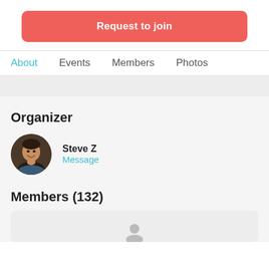Request to join
About  Events  Members  Photos
Organizer
[Figure (photo): Circular profile photo of a man (Steve Z), smiling, wearing a blue shirt]
Steve Z
Message
Members (132)